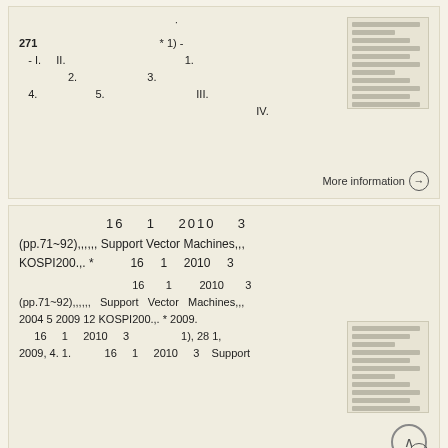271 * 1) - - I. II. 1. 2. 3. 4. 5. III. IV.
[Figure (photo): Thumbnail image of a document page]
More information →
16 1 2010 3 (pp.71~92),,,,,, Support Vector Machines,,,, KOSPI200.,. * 16 1 2010 3 16 1 2010 3 (pp.71~92),,,,,, Support Vector Machines,,,, 2004 5 2009 12 KOSPI200.,. * 2009. 16 1 2010 3 1), 28 1, 2009, 4. 1. 16 1 2010 3 Support
[Figure (photo): Thumbnail image of a document page]
More information →